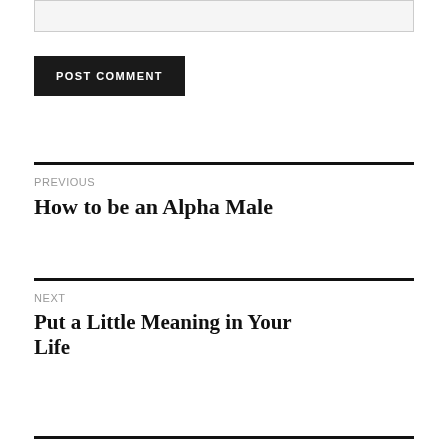[Figure (other): Gray input/text box area at top of page]
POST COMMENT
PREVIOUS
How to be an Alpha Male
NEXT
Put a Little Meaning in Your Life